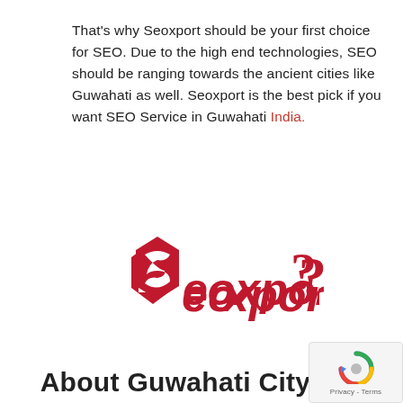That's why Seoxport should be your first choice for SEO. Due to the high end technologies, SEO should be ranging towards the ancient cities like Guwahati as well. Seoxport is the best pick if you want SEO Service in Guwahati India.
[Figure (logo): Seoxport logo — crimson red stylized 'S' icon to the left, followed by the text 'Seoxport?' in crimson red stylized lettering]
About Guwahati City